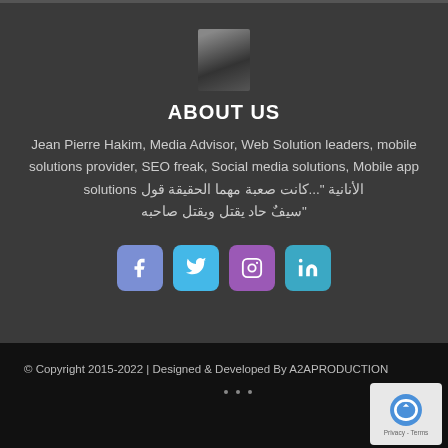[Figure (photo): Small avatar/profile photo of a person, dark toned image]
ABOUT US
Jean Pierre Hakim, Media Advisor, Web Solution leaders, mobile solutions provider, SEO freak, Social media solutions, Mobile app solutions الأنانية "...كانت صعبة مهما الحقيقة قول "سيفٌ حاد يقتل ويقتل صاحبه
[Figure (infographic): Social media icon buttons: Facebook (blue-purple), Twitter (light blue), Instagram (purple), LinkedIn (teal)]
© Copyright 2015-2022 | Designed & Developed By A2APRODUCTION